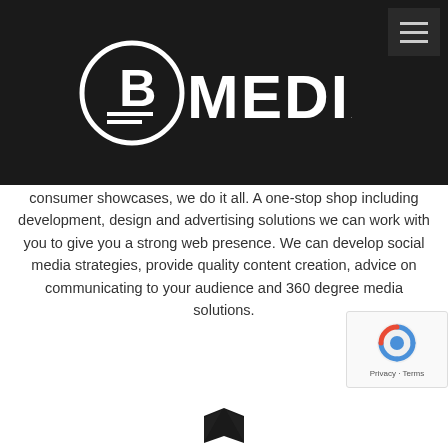[Figure (logo): B Media logo: circle with letter B and two horizontal lines underneath, followed by bold text MEDIA on dark background]
consumer showcases, we do it all. A one-stop shop including development, design and advertising solutions we can work with you to give you a strong web presence. We can develop social media strategies, provide quality content creation, advice on communicating to your audience and 360 degree media solutions.
[Figure (logo): Small book/map icon logo at bottom center of page]